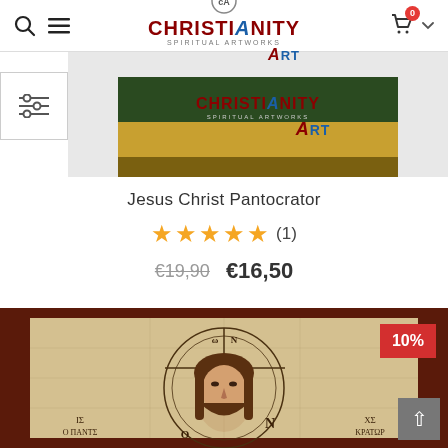Christianity Spiritual Artworks Art — website header with search, menu, logo, cart (0)
[Figure (screenshot): Christianity Art website logo/banner shown as a product thumbnail image — dark green and gold tones with the Christianity Art logo text]
Jesus Christ Pantocrator
★★★★★ (1)
€19,90  €16,50
[Figure (photo): Byzantine icon of Jesus Christ Pantocrator on aged wooden panel with dark red border. The icon shows Christ's face with halo containing Greek letters ΩΝ, Greek inscriptions ΙΣ ΧΡΙΣΤΟΣ Ο ΠΑΝΤΟΚΡΑΤΩΡ. A red 10% discount badge is in the top right corner.]